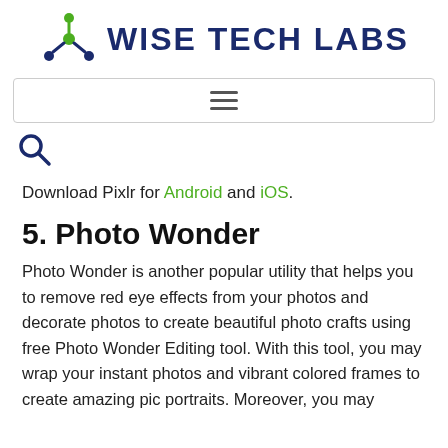WISE TECH LABS
[Figure (logo): Wise Tech Labs logo with green atom/molecule icon and dark blue bold text]
[Figure (screenshot): Navigation bar with hamburger menu icon (three horizontal lines) inside a rounded rectangle border]
[Figure (other): Search magnifying glass icon]
Download Pixlr for Android and iOS.
5. Photo Wonder
Photo Wonder is another popular utility that helps you to remove red eye effects from your photos and decorate photos to create beautiful photo crafts using free Photo Wonder Editing tool. With this tool, you may wrap your instant photos and vibrant colored frames to create amazing pic portraits. Moreover, you may